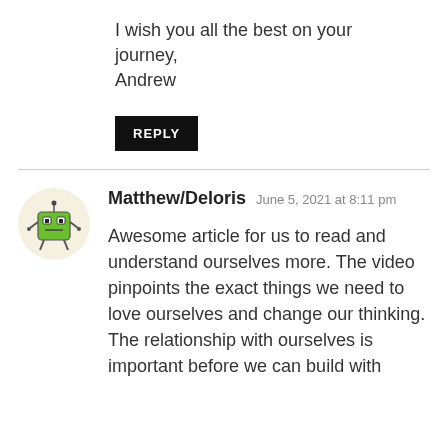I wish you all the best on your journey,
Andrew
REPLY
Matthew/Deloris  June 5, 2021 at 8:11 pm
Awesome article for us to read and understand ourselves more. The video pinpoints the exact things we need to love ourselves and change our thinking.
The relationship with ourselves is important before we can build with